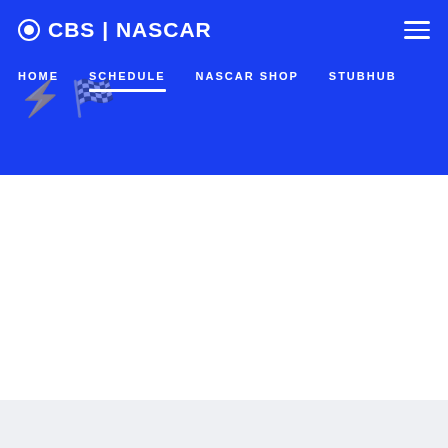CBS | NASCAR
HOME
SCHEDULE
NASCAR SHOP
STUBHUB